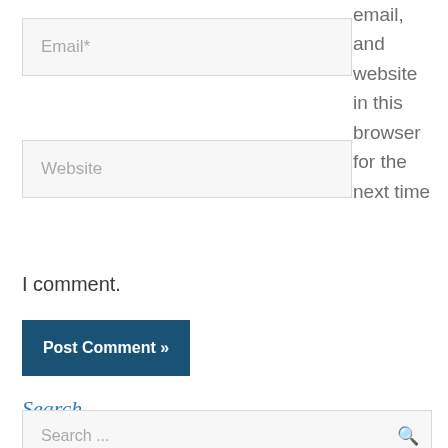Email*
Website
email, and website in this browser for the next time
I comment.
Post Comment »
Search
Search ...